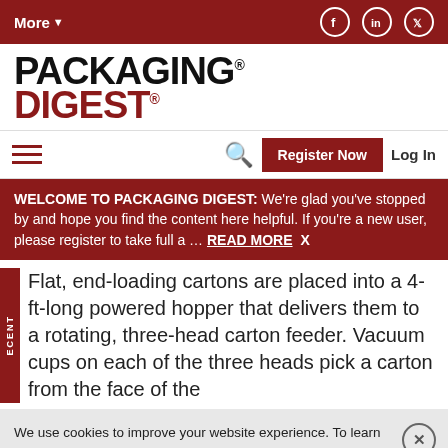More▼
[Figure (logo): Packaging Digest logo with PACKAGING in black bold and DIGEST in dark red bold]
[Figure (screenshot): Navigation bar with hamburger menu, search icon, Register Now button, and Log In link]
WELCOME TO PACKAGING DIGEST: We're glad you've stopped by and hope you find the content here helpful. If you're a new user, please register to take full a ... READ MORE X
Flat, end-loading cartons are placed into a 4-ft-long powered hopper that delivers them to a rotating, three-head carton feeder. Vacuum cups on each of the three heads pick a carton from the face of the
We use cookies to improve your website experience. To learn about our use of cookies and how you can manage your cookie settings, please see our Cookie Policy. By continuing to use the website, you consent to our use of cookies.